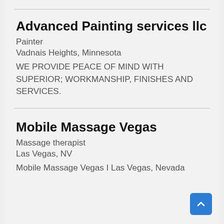Advanced Painting services llc
Painter
Vadnais Heights, Minnesota
WE PROVIDE PEACE OF MIND WITH SUPERIOR; WORKMANSHIP, FINISHES AND SERVICES.
Mobile Massage Vegas
Massage therapist
Las Vegas, NV
Mobile Massage Vegas I Las Vegas, Nevada